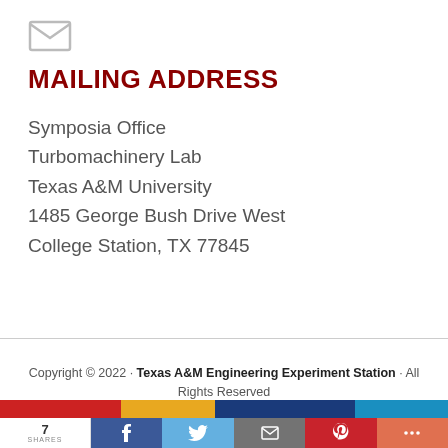[Figure (illustration): Mail/envelope icon outline in light gray]
MAILING ADDRESS
Symposia Office
Turbomachinery Lab
Texas A&M University
1485 George Bush Drive West
College Station, TX 77845
Copyright © 2022 · Texas A&M Engineering Experiment Station · All Rights Reserved